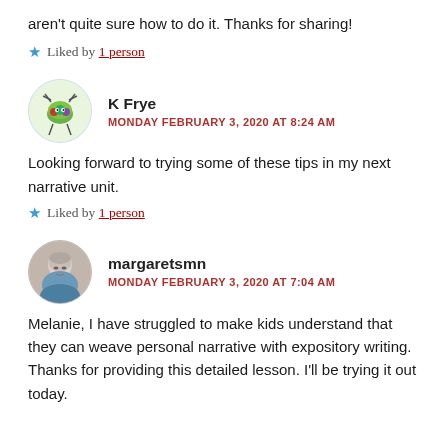aren't quite sure how to do it. Thanks for sharing!
★ Liked by 1 person
K Frye
MONDAY FEBRUARY 3, 2020 AT 8:24 AM
Looking forward to trying some of these tips in my next narrative unit.
★ Liked by 1 person
margaretsmn
MONDAY FEBRUARY 3, 2020 AT 7:04 AM
Melanie, I have struggled to make kids understand that they can weave personal narrative with expository writing. Thanks for providing this detailed lesson. I'll be trying it out today.